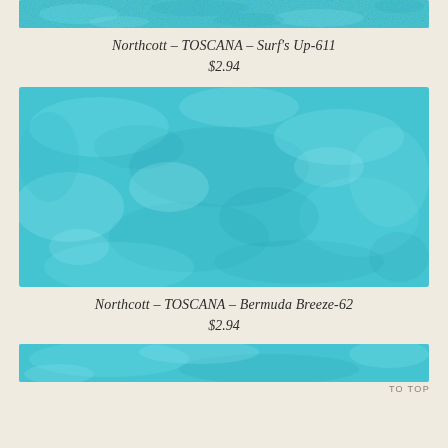[Figure (photo): Top portion of teal/turquoise Toscana fabric swatch - Surf's Up-611]
Northcott – TOSCANA – Surf's Up-611
$2.94
[Figure (photo): Full teal/turquoise Toscana fabric swatch - Bermuda Breeze-62]
Northcott – TOSCANA – Bermuda Breeze-62
$2.94
[Figure (photo): Bottom portion of another teal fabric swatch]